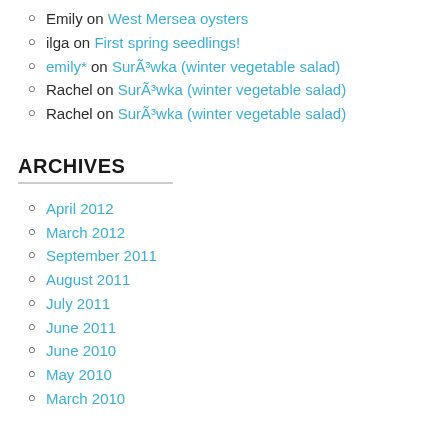Emily on West Mersea oysters
ilga on First spring seedlings!
emily* on SurÃ³wka (winter vegetable salad)
Rachel on SurÃ³wka (winter vegetable salad)
Rachel on SurÃ³wka (winter vegetable salad)
ARCHIVES
April 2012
March 2012
September 2011
August 2011
July 2011
June 2011
June 2010
May 2010
March 2010